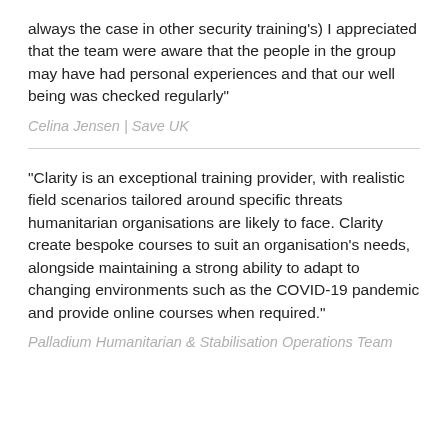always the case in other security training's) I appreciated that the team were aware that the people in the group may have had personal experiences and that our well being was checked regularly"
Celina Jensen | Save UK
"Clarity is an exceptional training provider, with realistic field scenarios tailored around specific threats humanitarian organisations are likely to face. Clarity create bespoke courses to suit an organisation's needs, alongside maintaining a strong ability to adapt to changing environments such as the COVID-19 pandemic and provide online courses when required."
Palladium Humanitarian & Stabilisation Operations Team